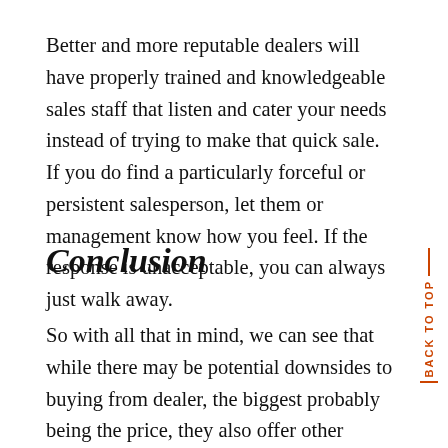Better and more reputable dealers will have properly trained and knowledgeable sales staff that listen and cater your needs instead of trying to make that quick sale. If you do find a particularly forceful or persistent salesperson, let them or management know how you feel. If the response is unacceptable, you can always just walk away.
Conclusion
So with all that in mind, we can see that while there may be potential downsides to buying from dealer, the biggest probably being the price, they also offer other benefits that you won't get from a